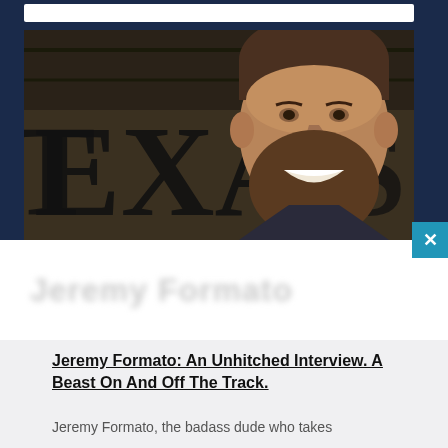[Figure (photo): A bearded man smiling in front of large metal letters spelling TEXAS in a dark industrial setting]
Jeremy Formato: An Unhitched Interview. A Beast On And Off The Track.
Jeremy Formato, the badass dude who takes